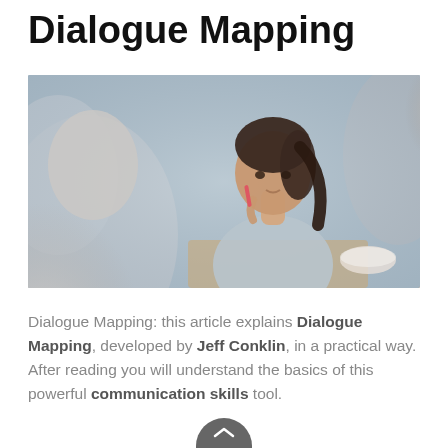Dialogue Mapping
[Figure (photo): A young woman with dark hair in a ponytail, wearing a light grey blazer, holding a pen to her chin in a thoughtful pose during what appears to be a meeting or dialogue session. Two blurred figures are visible in the foreground and background.]
Dialogue Mapping: this article explains Dialogue Mapping, developed by Jeff Conklin, in a practical way. After reading you will understand the basics of this powerful communication skills tool.